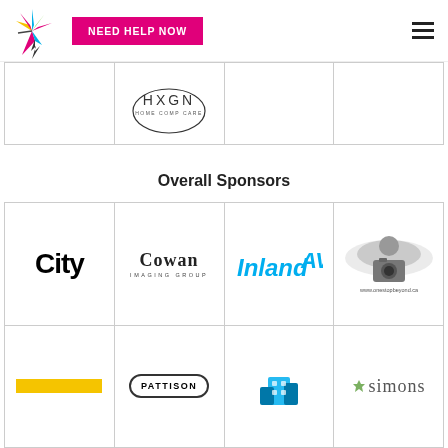[Figure (logo): Hummingbird colorful logo with lightning bolt]
[Figure (logo): NEED HELP NOW pink/magenta button]
[Figure (logo): Hamburger menu icon]
[Figure (logo): HXGN logo in circular frame]
Overall Sponsors
[Figure (logo): City TV logo in bold black text]
[Figure (logo): Cowan Imaging Group logo]
[Figure (logo): Inland AV logo in teal/cyan]
[Figure (logo): One Stop Beyond photography logo with eagle and camera]
[Figure (logo): Yellow/gold horizontal bar logo]
[Figure (logo): Pattison logo in rounded rectangle border]
[Figure (logo): Building/tower icon logo]
[Figure (logo): Simons logo in serif font]